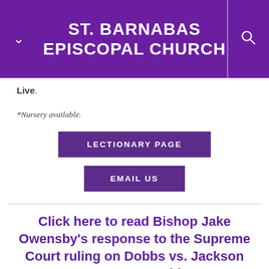ST. BARNABAS EPISCOPAL CHURCH
Live.
*Nursery available.
LECTIONARY PAGE
EMAIL US
Click here to read Bishop Jake Owensby's response to the Supreme Court ruling on Dobbs vs. Jackson Women's Health